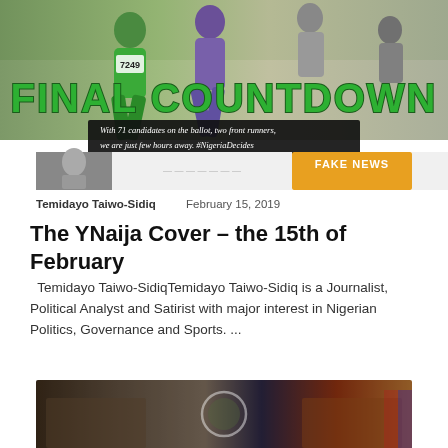[Figure (photo): Runners in a race with bib number 7249 visible, overlaid with large green bold text 'FINAL COUNTDOWN' and a dark subtitle bar reading 'With 71 candidates on the ballot, two front runners, we are just few hours away. #NigeriaDecides'. Below is a strip with a thumbnail image on the left, a center section, and an orange 'FAKE NEWS' badge.]
Temidayo Taiwo-Sidiq   February 15, 2019
The YNaija Cover – the 15th of February
Temidayo Taiwo-SidiqTemidayo Taiwo-Sidiq is a Journalist, Political Analyst and Satirist with major interest in Nigerian Politics, Governance and Sports. ...
[Figure (photo): A partial image at the bottom showing what appears to be an official government or diplomatic setting with a seal/emblem visible in the center, multiple figures in traditional attire on the left and formal setting on the right.]